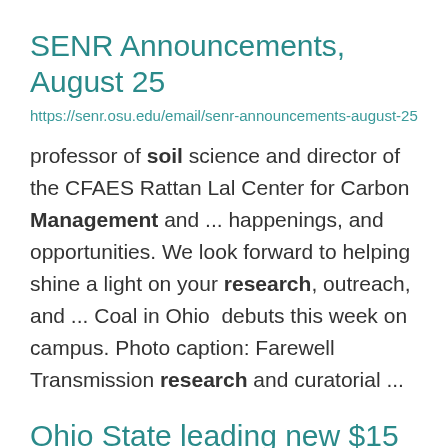SENR Announcements, August 25
https://senr.osu.edu/email/senr-announcements-august-25
professor of soil science and director of the CFAES Rattan Lal Center for Carbon Management and ... happenings, and opportunities. We look forward to helping shine a light on your research, outreach, and ... Coal in Ohio  debuts this week on campus. Photo caption: Farewell Transmission research and curatorial ...
Ohio State leading new $15 million